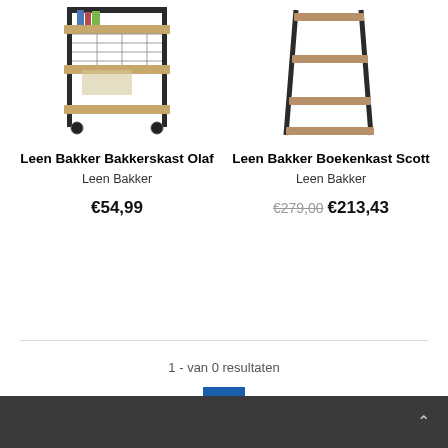[Figure (photo): Product photo of Leen Bakker Bakkerskast Olaf – a rolling baker's rack with metal frame and wooden shelves]
Leen Bakker Bakkerskast Olaf
Leen Bakker
€54,99
[Figure (photo): Product photo of Leen Bakker Boekenkast Scott – a leaning ladder bookshelf with wooden shelves and black metal frame]
Leen Bakker Boekenkast Scott
Leen Bakker
€279,00 €213,43
1 - van 0 resultaten
1
^